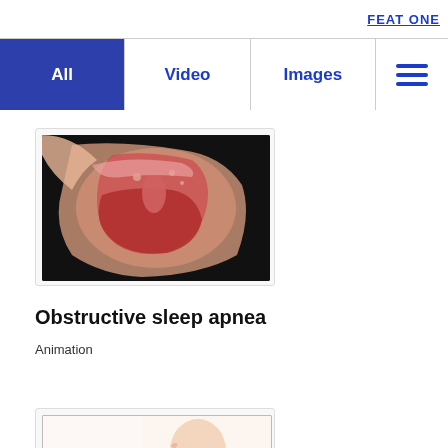FEAT ONE
All | Video | Images | menu
[Figure (illustration): Medical animation thumbnail showing a cross-sectional view of the human airway/throat with obstructive sleep apnea, dark background]
Obstructive sleep apnea
Animation
[Figure (illustration): Medical illustration showing greatly enlarged tonsil causing obstructive sleep apnea, with a side-view cross-section of the head/neck anatomy labeling the Tonsil. RADAAM watermark at bottom right.]